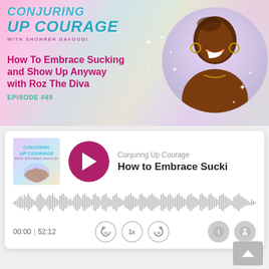[Figure (screenshot): Podcast banner for 'Conjuring Up Courage with Shohreh Davoodi' showing episode #49 'How To Embrace Sucking and Show Up Anyway with Roz The Diva' with a colorful rainbow gradient background and a photo of a smiling Black woman with hoop earrings]
CONJURING UP COURAGE
WITH SHOHREH DAVOODI
How To Embrace Sucking and Show Up Anyway with Roz The Diva
EPISODE #49
[Figure (screenshot): Audio podcast player widget showing album art, play button, track title 'How to Embrace Sucki...' from 'Conjuring Up Courage', waveform visualization, time 00:00 | 52:12, and playback controls (rewind 10, 1x speed, forward 30)]